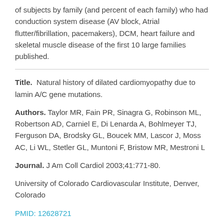of subjects by family (and percent of each family) who had conduction system disease (AV block, Atrial flutter/fibrillation, pacemakers), DCM, heart failure and skeletal muscle disease of the first 10 large families published.
Title.  Natural history of dilated cardiomyopathy due to lamin A/C gene mutations.
Authors. Taylor MR, Fain PR, Sinagra G, Robinson ML, Robertson AD, Carniel E, Di Lenarda A, Bohlmeyer TJ, Ferguson DA, Brodsky GL, Boucek MM, Lascor J, Moss AC, Li WL, Stetler GL, Muntoni F, Bristow MR, Mestroni L
Journal. J Am Coll Cardiol 2003;41:771-80.
University of Colorado Cardiovascular Institute, Denver, Colorado
PMID: 12628721
Citation type: phenotype/genotype (clinical and genetic data)